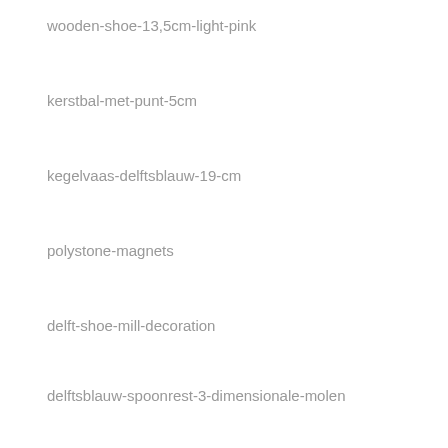wooden-shoe-13,5cm-light-pink
kerstbal-met-punt-5cm
kegelvaas-delftsblauw-19-cm
polystone-magnets
delft-shoe-mill-decoration
delftsblauw-spoonrest-3-dimensionale-molen
delft-shoe-moneybox-13cm
fiets-souvenir